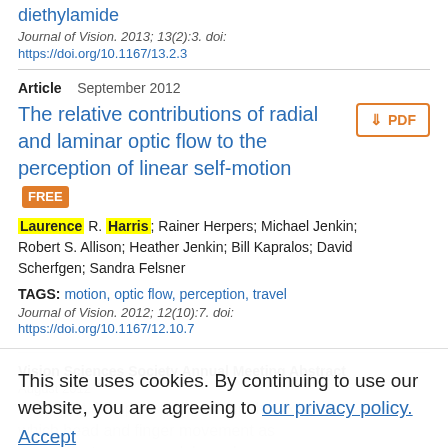diethylamide
Journal of Vision. 2013; 13(2):3. doi:
https://doi.org/10.1167/13.2.3
Article   September 2012
The relative contributions of radial and laminar optic flow to the perception of linear self-motion FREE
Laurence R. Harris; Rainer Herpers; Michael Jenkin; Robert S. Allison; Heather Jenkin; Bill Kapralos; David Scherfgen; Sandra Felsner
TAGS: motion, optic flow, perception, travel
Journal of Vision. 2012; 12(10):7. doi:
https://doi.org/10.1167/12.10.7
Vision Sciences Society Annual Meeting Abstract
August 2012
This site uses cookies. By continuing to use our website, you are agreeing to our privacy policy. Accept